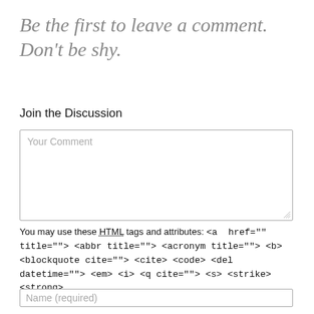Be the first to leave a comment. Don't be shy.
Join the Discussion
Your Comment
You may use these HTML tags and attributes: <a href="" title=""> <abbr title=""> <acronym title=""> <b> <blockquote cite=""> <cite> <code> <del datetime=""> <em> <i> <q cite=""> <s> <strike> <strong>
Name (required)